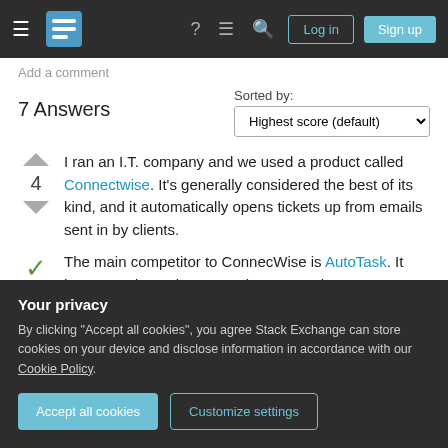Stack Exchange navigation bar with Log in and Sign up buttons
Add a comment
7 Answers
Sorted by: Highest score (default)
I ran an I.T. company and we used a product called Connectwise. It's generally considered the best of its kind, and it automatically opens tickets up from emails sent in by clients.
The main competitor to ConnecWise is AutoTask. It has a good user base, too, but runs only SaaS...
professional service automation. All of the packages
Your privacy

By clicking "Accept all cookies", you agree Stack Exchange can store cookies on your device and disclose information in accordance with our Cookie Policy.

Accept all cookies   Customize settings